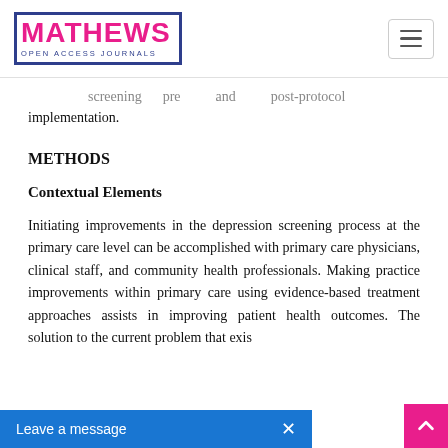[Figure (logo): Mathews Open Access Journals logo with navy border, pink MATHEWS text, and navy subtitle text. Hamburger menu icon in top right.]
screening pre and post-protocol implementation.
METHODS
Contextual Elements
Initiating improvements in the depression screening process at the primary care level can be accomplished with primary care physicians, clinical staff, and community health professionals. Making practice improvements within primary care using evidence-based treatment approaches assists in improving patient health outcomes. The solution to the current problem that exis...